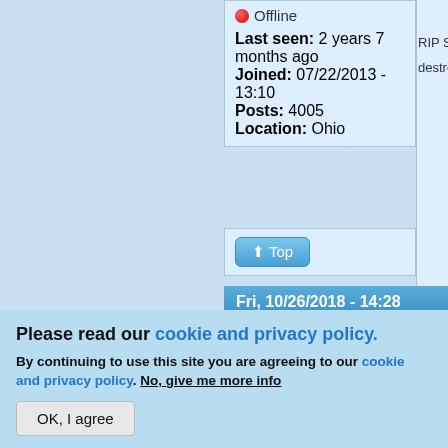Offline
Last seen: 2 years 7 months ago
Joined: 07/22/2013 - 13:10
Posts: 4005
Location: Ohio
RIP SPC Joey destroyer of wo...
Top
Fri, 10/26/2018 - 14:28
SKV89
Offline
Last seen: 3 days 9 hours ago
ro ap la
Please read our cookie and privacy policy.
By continuing to use this site you are agreeing to our cookie and privacy policy. No, give me more info
OK, I agree